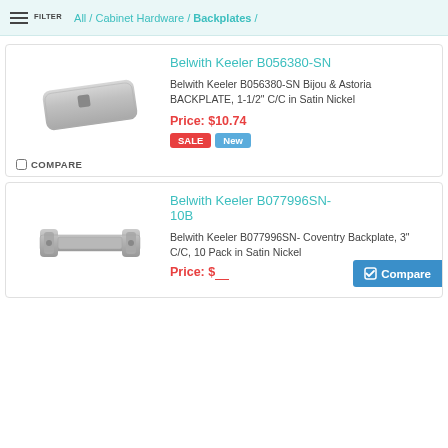FILTER / All / Cabinet Hardware / Backplates /
Belwith Keeler B056380-SN
Belwith Keeler B056380-SN Bijou & Astoria BACKPLATE, 1-1/2" C/C in Satin Nickel
Price: $10.74
SALE New
COMPARE
Belwith Keeler B077996SN-10B
Belwith Keeler B077996SN- Coventry Backplate, 3" C/C, 10 Pack in Satin Nickel
Compare
Price: $...